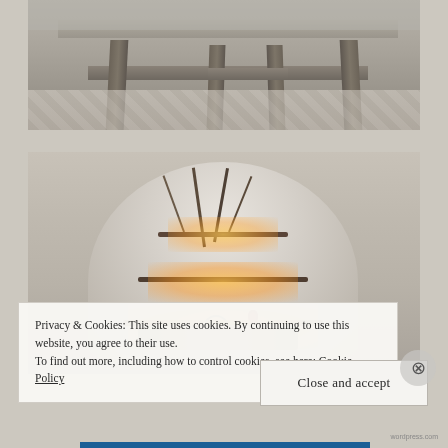[Figure (photo): Photo of a rustic wooden furniture piece (possibly a bench or table) with visible legs and crossbar, on a herringbone patterned floor]
[Figure (photo): Photo of a decorative Christmas tree made from branches/twigs with warm fairy lights and small ornaments, mounted on a light-colored wall]
Privacy & Cookies: This site uses cookies. By continuing to use this website, you agree to their use.
To find out more, including how to control cookies, see here: Cookie Policy
Close and accept